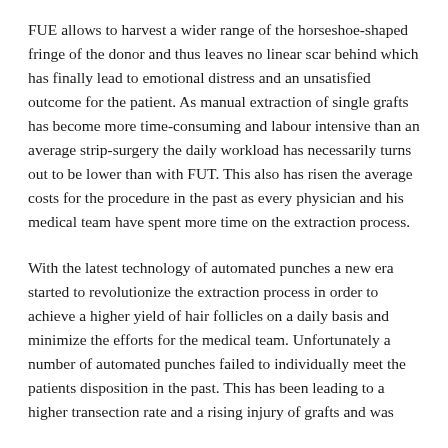FUE allows to harvest a wider range of the horseshoe-shaped fringe of the donor and thus leaves no linear scar behind which has finally lead to emotional distress and an unsatisfied outcome for the patient. As manual extraction of single grafts has become more time-consuming and labour intensive than an average strip-surgery the daily workload has necessarily turns out to be lower than with FUT. This also has risen the average costs for the procedure in the past as every physician and his medical team have spent more time on the extraction process.
With the latest technology of automated punches a new era started to revolutionize the extraction process in order to achieve a higher yield of hair follicles on a daily basis and minimize the efforts for the medical team. Unfortunately a number of automated punches failed to individually meet the patients disposition in the past. This has been leading to a higher transection rate and a rising injury of grafts and was